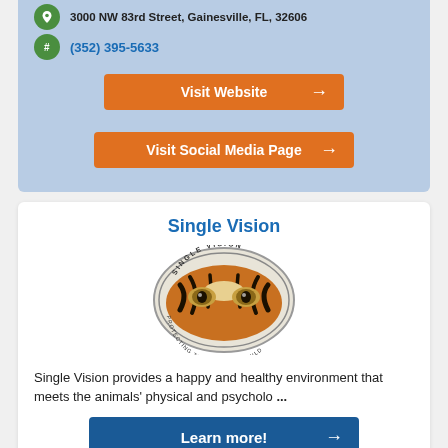3000 NW 83rd Street, Gainesville, FL, 32606
(352) 395-5633
Visit Website →
Visit Social Media Page →
Single Vision
[Figure (logo): Single Vision oval logo featuring a tiger's eyes with text 'SINGLE VISION' at top and 'PROTECTING THE VANISHING WILD' at bottom]
Single Vision provides a happy and healthy environment that meets the animals' physical and psycholo ...
Learn more! →